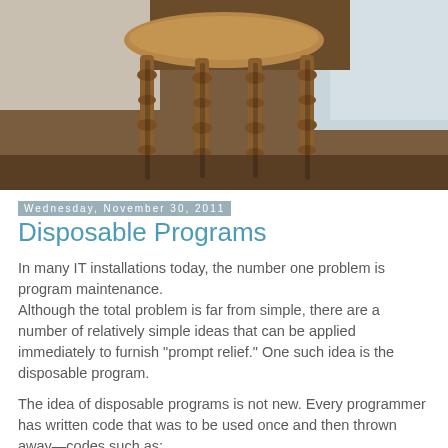[Figure (photo): Photo of wooden chair legs on a dark surface with light-colored pillows or fabric in the background]
Wednesday, November 30, 2011
Disposable Programs
In many IT installations today, the number one problem is program maintenance.
Although the total problem is far from simple, there are a number of relatively simple ideas that can be applied immediately to furnish "prompt relief." One such idea is the disposable program.
The idea of disposable programs is not new. Every programmer has written code that was to be used once and then thrown away—codes such as:
1. First-cut subroutines, as for simple, quick formatting of output.